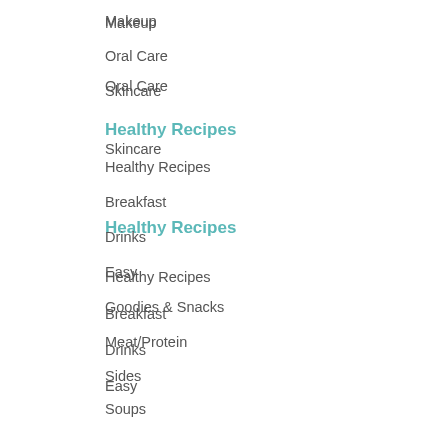Makeup
Oral Care
Skincare
Healthy Recipes
Healthy Recipes
Breakfast
Drinks
Easy
Goodies & Snacks
Meat/Protein
Sides
Soups
Sweets & Treats
Archives
Select Month